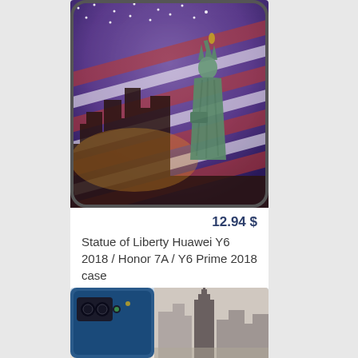[Figure (photo): Phone case product image showing Statue of Liberty with American flag and New York City skyline design on a Huawei Y6 2018 phone case]
12.94 $
Statue of Liberty Huawei Y6 2018 / Honor 7A / Y6 Prime 2018 case
[Figure (photo): Second phone case product image showing Empire State Building and New York City skyline design on a Huawei phone case]